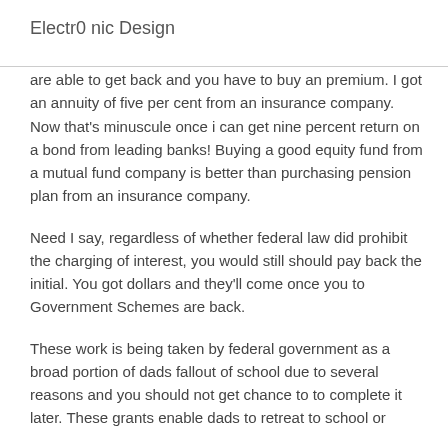Electr0 nic Design
are able to get back and you have to buy an premium. I got an annuity of five per cent from an insurance company. Now that's minuscule once i can get nine percent return on a bond from leading banks! Buying a good equity fund from a mutual fund company is better than purchasing pension plan from an insurance company.
Need I say, regardless of whether federal law did prohibit the charging of interest, you would still should pay back the initial. You got dollars and they'll come once you to Government Schemes are back.
These work is being taken by federal government as a broad portion of dads fallout of school due to several reasons and you should not get chance to to complete it later. These grants enable dads to retreat to school or